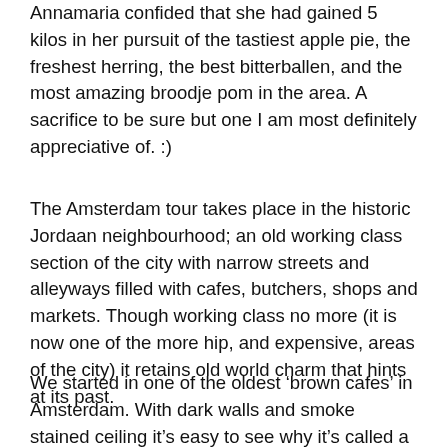Annamaria confided that she had gained 5 kilos in her pursuit of the tastiest apple pie, the freshest herring, the best bitterballen, and the most amazing broodje pom in the area. A sacrifice to be sure but one I am most definitely appreciative of. :)
The Amsterdam tour takes place in the historic Jordaan neighbourhood; an old working class section of the city with narrow streets and alleyways filled with cafes, butchers, shops and markets. Though working class no more (it is now one of the more hip, and expensive, areas of the city) it retains old world charm that hints at its past.
We started in one of the oldest ‘brown cafes’ in Amsterdam. With dark walls and smoke stained ceiling it’s easy to see why it’s called a ‘brown cafe’ – it